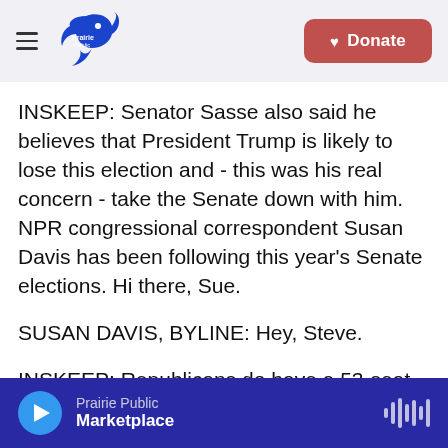Prairie Public | Donate
INSKEEP: Senator Sasse also said he believes that President Trump is likely to lose this election and - this was his real concern - take the Senate down with him. NPR congressional correspondent Susan Davis has been following this year's Senate elections. Hi there, Sue.
SUSAN DAVIS, BYLINE: Hey, Steve.
INSKEEP: Republicans do have a 53-seat majority in the Senate, which means they could even lose a couple and still keep it. Are they in serious risk of losing that majority?
Prairie Public — Marketplace